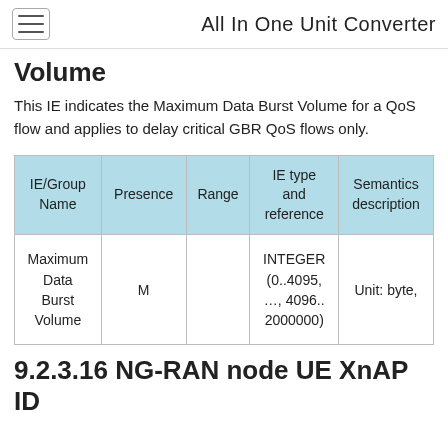All In One Unit Converter
Volume
This IE indicates the Maximum Data Burst Volume for a QoS flow and applies to delay critical GBR QoS flows only.
| IE/Group Name | Presence | Range | IE type and reference | Semantics description |
| --- | --- | --- | --- | --- |
| Maximum Data Burst Volume | M |  | INTEGER (0..4095, …, 4096..2000000) | Unit: byte, |
9.2.3.16 NG-RAN node UE XnAP ID